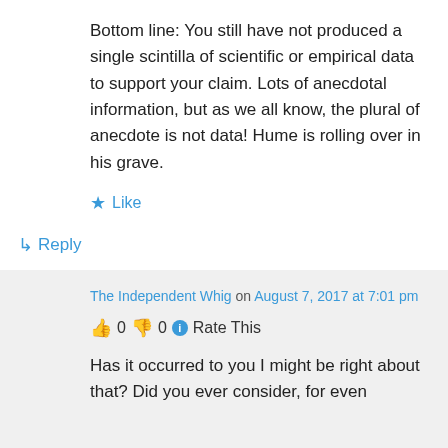Bottom line: You still have not produced a single scintilla of scientific or empirical data to support your claim. Lots of anecdotal information, but as we all know, the plural of anecdote is not data! Hume is rolling over in his grave.
★ Like
↵ Reply
The Independent Whig on August 7, 2017 at 7:01 pm
👍 0 👎 0 ℹ Rate This
Has it occurred to you I might be right about that? Did you ever consider, for even